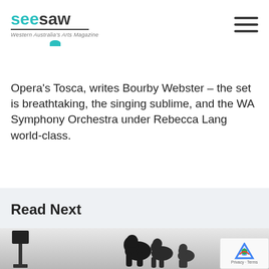seesaw - Western Australia's Arts Magazine
Opera's Tosca, writes Bourby Webster – the set is breathtaking, the singing sublime, and the WA Symphony Orchestra under Rebecca Lang world-class.
Read Next
[Figure (photo): Black and white photo showing silhouettes of people with a speaker/PA system on the left side]